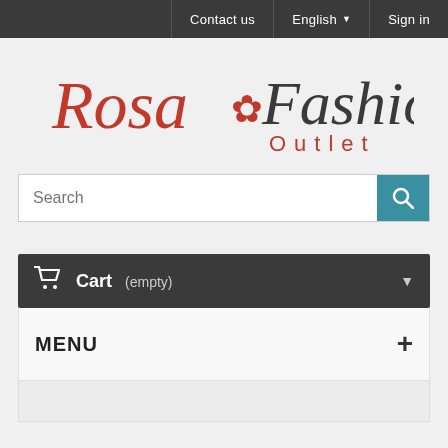Contact us | English ▼ | Sign in
[Figure (logo): Rosa Fashion Outlet logo with cursive red 'Rosa', a red rose icon, and dark grey cursive 'Fashion' with red 'Outlet' text below]
Search
🛒 Cart (empty)
MENU +